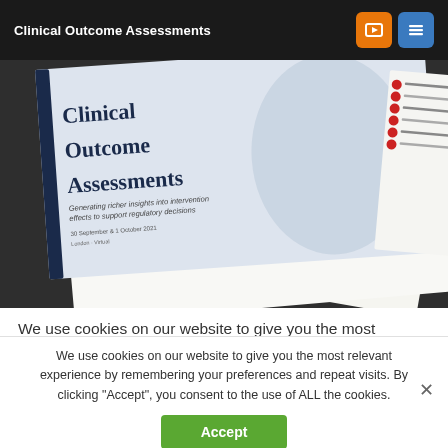Clinical Outcome Assessments
[Figure (photo): Brochure mockup showing Clinical Outcome Assessments training materials fanned out, including brochure front cover and agenda pages with text about generating richer insights into intervention effects to support regulatory decisions]
We use cookies on our website to give you the most relevant experience by remembering your preferences and repeat visits. By clicking “Accept”, you consent to the use of ALL the cookies.
We use cookies on our website to give you the most relevant experience by remembering your preferences and repeat visits. By clicking “Accept”, you consent to the use of ALL the cookies.